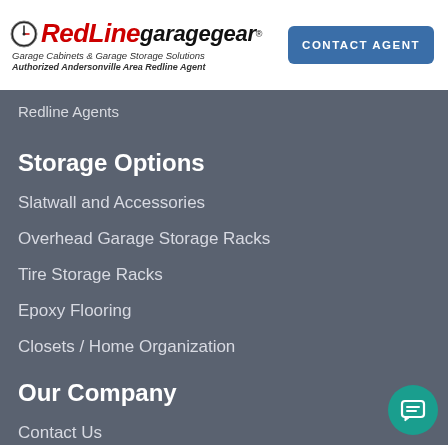[Figure (logo): RedLine Garage Gear logo with clock icon, red and black italic text, subtitle 'Garage Cabinets & Garage Storage Solutions', and 'Authorized Andersonville Area Redline Agent']
CONTACT AGENT
Redline Agents
Storage Options
Slatwall and Accessories
Overhead Garage Storage Racks
Tire Storage Racks
Epoxy Flooring
Closets / Home Organization
Our Company
Contact Us
About Us
Blog